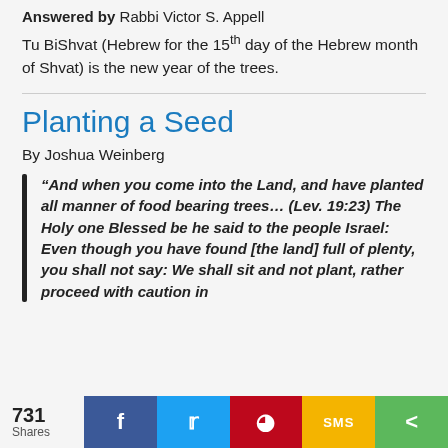Answered by Rabbi Victor S. Appell
Tu BiShvat (Hebrew for the 15th day of the Hebrew month of Shvat) is the new year of the trees.
Planting a Seed
By Joshua Weinberg
“ And when you come into the Land, and have planted all manner of food bearing trees... (Lev. 19:23) The Holy one Blessed be he said to the people Israel: Even though you have found [the land] full of plenty, you shall not say: We shall sit and not plant, rather proceed with caution in
731 Shares | Facebook | Twitter | Pinterest | SMS | Share